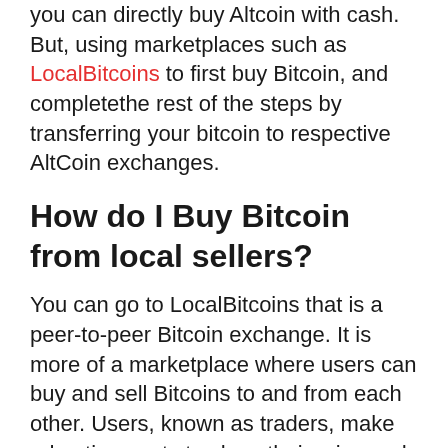you can directly buy Altcoin with cash. But, using marketplaces such as LocalBitcoins to first buy Bitcoin, and completethe rest of the steps by transferring your bitcoin to respective AltCoin exchanges.
How do I Buy Bitcoin from local sellers?
You can go to LocalBitcoins that is a peer-to-peer Bitcoin exchange. It is more of a marketplace where users can buy and sell Bitcoins to and from each other. Users, known as traders, make advertisements to show their price and the payment method they want used. Then buyers buy from the traders to buy from sellers in a particular nearby region on the platform. LocalBitcoins